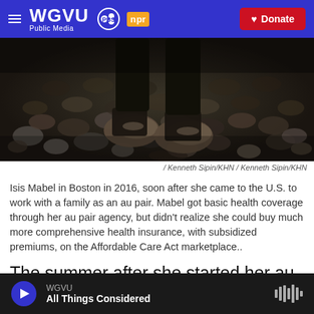WGVU Public Media | PBS | NPR | Donate
[Figure (photo): Feet/shoes standing on a rocky pebble beach, dark moody tones, photo by Kenneth Sipin/KHN]
/ Kenneth Sipin/KHN  /  Kenneth Sipin/KHN
Isis Mabel in Boston in 2016, soon after she came to the U.S. to work with a family as an au pair. Mabel got basic health coverage through her au pair agency, but didn't realize she could buy much more comprehensive health insurance, with subsidized premiums, on the Affordable Care Act marketplace..
The summer after she started her au pair job, Mabel's birth control implant expired and she had it
WGVU | All Things Considered